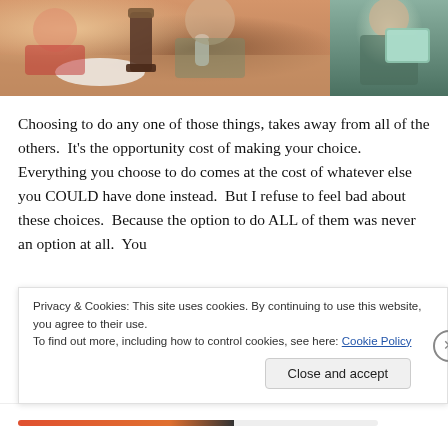[Figure (photo): Two-panel photo strip: left panel shows children at a table with a coffee grinder and dishes; right panel shows a person holding a tablet device.]
Choosing to do any one of those things, takes away from all of the others.  It's the opportunity cost of making your choice.  Everything you choose to do comes at the cost of whatever else you COULD have done instead.  But I refuse to feel bad about these choices.  Because the option to do ALL of them was never an option at all.  You
Privacy & Cookies: This site uses cookies. By continuing to use this website, you agree to their use.
To find out more, including how to control cookies, see here: Cookie Policy
Close and accept